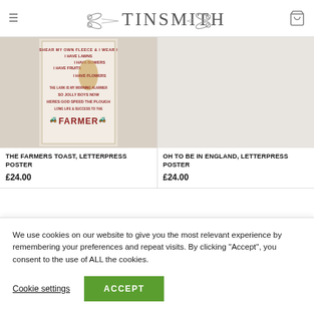TINSMITHS
[Figure (photo): Photo of a letterpress poster reading 'The Farmers Toast' with text about shearing fleece, lawns, bowers, fruits, flowers, the lark as morning alarm, jolly boys, God speed the plough, long life and success to the Farmer]
THE FARMERS TOAST, LETTERPRESS POSTER
£24.00
OH TO BE IN ENGLAND, LETTERPRESS POSTER
£24.00
We use cookies on our website to give you the most relevant experience by remembering your preferences and repeat visits. By clicking "Accept", you consent to the use of ALL the cookies.
Cookie settings
ACCEPT